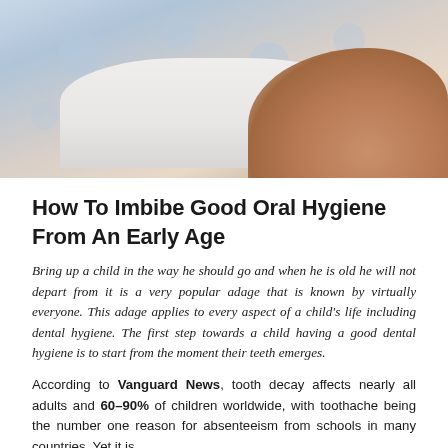[Figure (photo): Photo of a baby or young child lying down on a white and blue polka-dot surface, with skin visible at the bottom right]
How To Imbibe Good Oral Hygiene From An Early Age
Bring up a child in the way he should go and when he is old he will not depart from it is a very popular adage that is known by virtually everyone. This adage applies to every aspect of a child's life including dental hygiene. The first step towards a child having a good dental hygiene is to start from the moment their teeth emerges.
According to Vanguard News, tooth decay affects nearly all adults and 60–90% of children worldwide, with toothache being the number one reason for absenteeism from schools in many countries. Yet it is